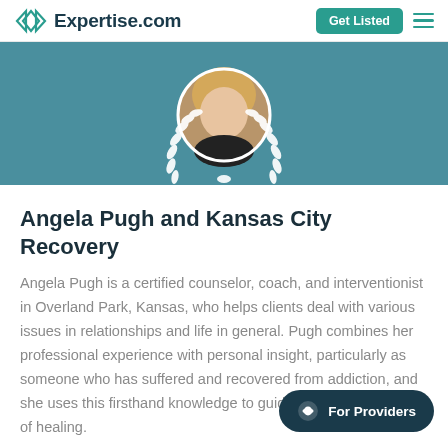Expertise.com | Get Listed
[Figure (photo): Profile photo of Angela Pugh in a circular frame with white laurel wreath decoration on a teal background]
Angela Pugh and Kansas City Recovery
Angela Pugh is a certified counselor, coach, and interventionist in Overland Park, Kansas, who helps clients deal with various issues in relationships and life in general. Pugh combines her professional experience with personal insight, particularly as someone who has suffered and recovered from addiction, and she uses this firsthand knowledge to guide and need of healing.